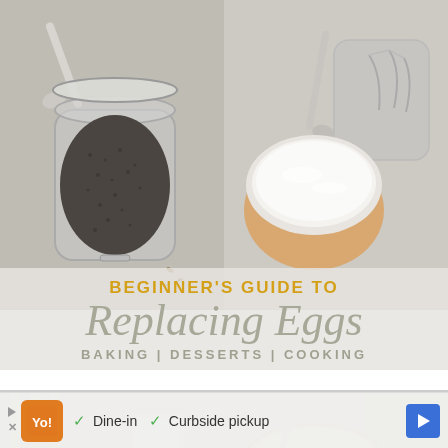[Figure (photo): Overhead view of a glass jar filled with chia seeds with a metal spoon, on a grey stone surface with some flaxseeds]
[Figure (photo): Overhead view of a white bowl of coconut cream/yogurt with a spoon and a glass jar with a whisk on a grey stone surface]
BEGINNER'S GUIDE TO Replacing Eggs
BAKING | DESSERTS | COOKING
[Figure (photo): Overhead view of a glass of milk with a grey striped cloth on a grey stone surface]
[Figure (photo): Overhead view of a wooden bowl filled with chickpea or other flour on a grey stone surface with a burlap cloth]
Dine-in   Curbside pickup